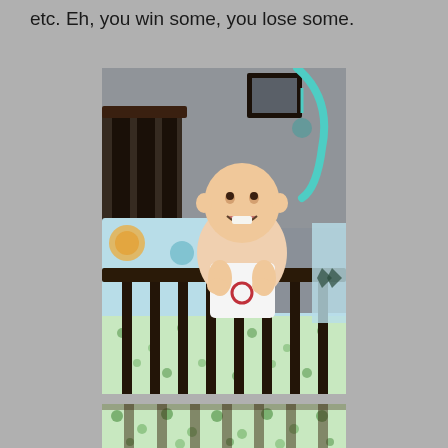etc. Eh, you win some, you lose some.
[Figure (photo): A smiling baby standing in a dark wooden crib, wearing a white sleeveless outfit with a decorative detail. Colorful crib bedding with polka dots and animals is visible. A teal-colored mobile arm extends from the top right.]
[Figure (photo): Partial view of crib bedding with green polka dot pattern, showing the bottom portion of the crib.]